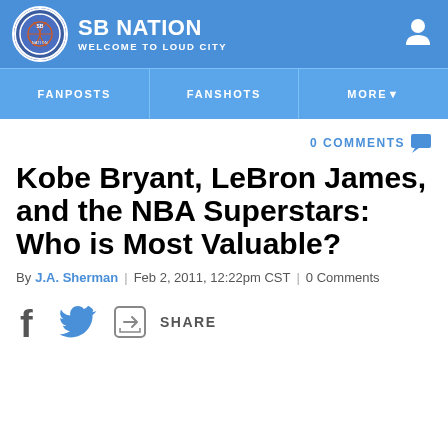SB NATION — WELCOME TO LOUD CITY
[Figure (logo): SB Nation circular logo with basketball graphic]
FANPOSTS | FANSHOTS | MORE
0 COMMENTS
Kobe Bryant, LeBron James, and the NBA Superstars: Who is Most Valuable?
By J.A. Sherman | Feb 2, 2011, 12:22pm CST | 0 Comments
SHARE (Facebook, Twitter, Share icon)